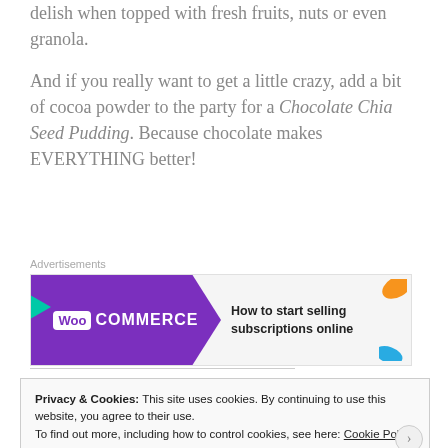delish when topped with fresh fruits, nuts or even granola.
And if you really want to get a little crazy, add a bit of cocoa powder to the party for a Chocolate Chia Seed Pudding. Because chocolate makes EVERYTHING better!
[Figure (other): WooCommerce advertisement banner: purple background with WooCommerce logo on left, text 'How to start selling subscriptions online' on right with teal arrow and colorful leaf decorations.]
Privacy & Cookies: This site uses cookies. By continuing to use this website, you agree to their use.
To find out more, including how to control cookies, see here: Cookie Policy
Close and accept